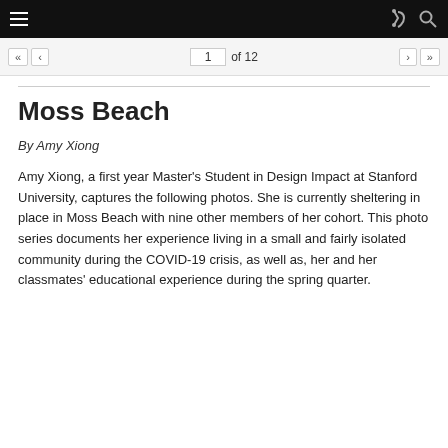Moss Beach — navigation/toolbar
« ‹  1 of 12  › »
Moss Beach
By Amy Xiong
Amy Xiong, a first year Master's Student in Design Impact at Stanford University, captures the following photos. She is currently sheltering in place in Moss Beach with nine other members of her cohort. This photo series documents her experience living in a small and fairly isolated community during the COVID-19 crisis, as well as, her and her classmates' educational experience during the spring quarter.